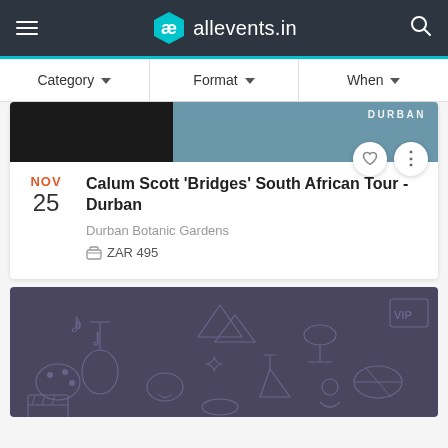allevents.in
Category   Format   When
[Figure (photo): Event banner image showing performer with DURBAN text overlay]
NOV 25
Calum Scott 'Bridges' South African Tour - Durban
Durban Botanic Gardens
ZAR 495
[Figure (illustration): Dark purple decorative pattern background with outline icons of music, sports, arts and entertainment]